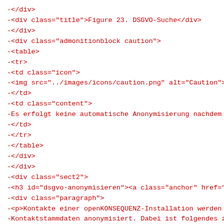-</div>
-<div class="title">Figure 23. DSGVO-Suche</div>
-</div>
-<div class="admonitionblock caution">
-<table>
-<tr>
-<td class="icon">
-<img src="../images/icons/caution.png" alt="Caution">
-</td>
-<td class="content">
-Es erfolgt keine automatische Anonymisierung nachdem
-</td>
-</tr>
-</table>
-</div>
-</div>
-<div class="sect2">
-<h3 id="dsgvo-anonymisieren"><a class="anchor" href="
-<div class="paragraph">
-<p>Kontakte einer openKONSEQUENZ-Installation werden
-Kontaktstammdaten anonymisiert. Dabei ist folgendes z
-</div>